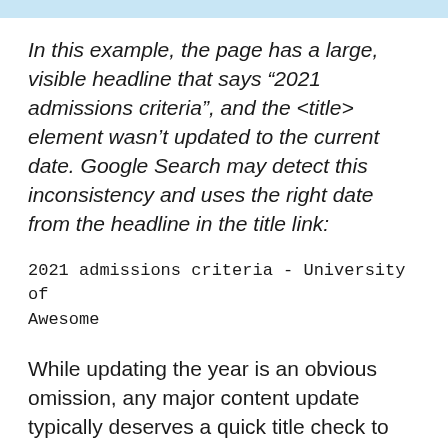In this example, the page has a large, visible headline that says “2021 admissions criteria”, and the <title> element wasn’t updated to the current date. Google Search may detect this inconsistency and uses the right date from the headline in the title link:
2021 admissions criteria - University of Awesome
While updating the year is an obvious omission, any major content update typically deserves a quick title check to